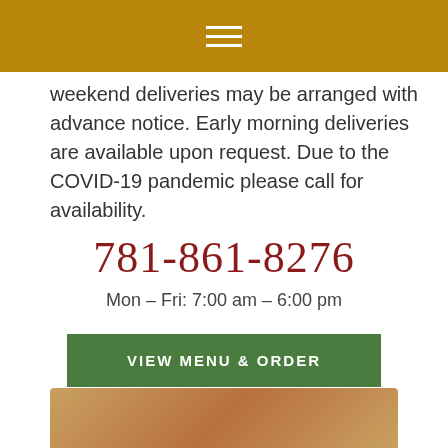[Figure (other): Golden/amber colored navigation header bar with white hamburger menu icon (three horizontal lines)]
weekend deliveries may be arranged with advance notice. Early morning deliveries are available upon request. Due to the COVID-19 pandemic please call for availability.
781-861-8276
Mon – Fri: 7:00 am – 6:00 pm
VIEW MENU & ORDER
[Figure (photo): Partial photo of food item on a wooden table, cropped at the bottom of the page]